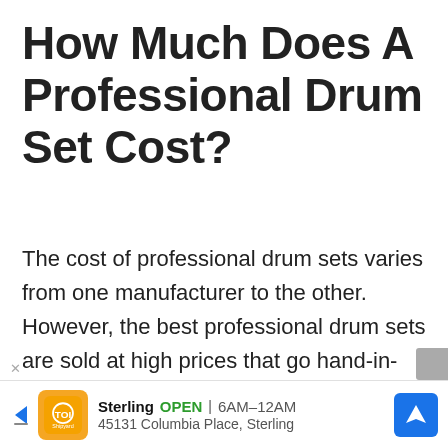How Much Does A Professional Drum Set Cost?
The cost of professional drum sets varies from one manufacturer to the other. However, the best professional drum sets are sold at high prices that go hand-in-hand with the quality of these drums. The professional drums are different from standard drums regarding the quality of materials and build that affect the [final sound…]
[Figure (other): Advertisement banner for Sterling, showing store logo, open hours 6AM-12AM, address 45131 Columbia Place, Sterling, and a blue navigation arrow icon.]